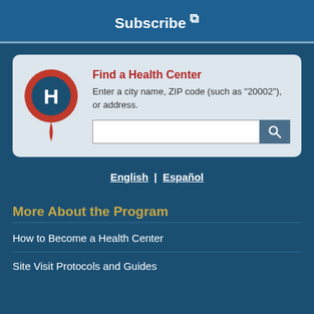Subscribe ↗
[Figure (infographic): Find a Health Center widget with red map pin icon containing letter H, a title 'Find a Health Center' in red bold text, descriptive text, and a search bar with a search button]
English | Español
More About the Program
How to Become a Health Center
Site Visit Protocols and Guides